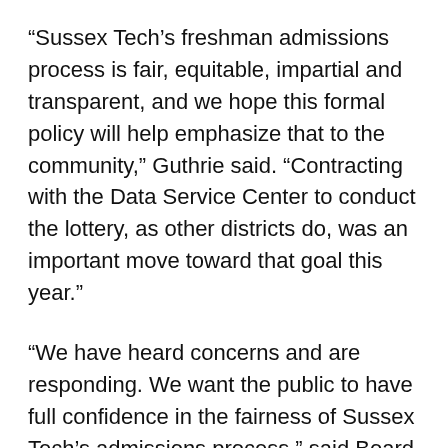“Sussex Tech’s freshman admissions process is fair, equitable, impartial and transparent, and we hope this formal policy will help emphasize that to the community,” Guthrie said. “Contracting with the Data Service Center to conduct the lottery, as other districts do, was an important move toward that goal this year.”
“We have heard concerns and are responding. We want the public to have full confidence in the fairness of Sussex Tech’s admissions process,” said Board of Education President Warren Reid. “This policy proposal is a first step for this board to take action.”